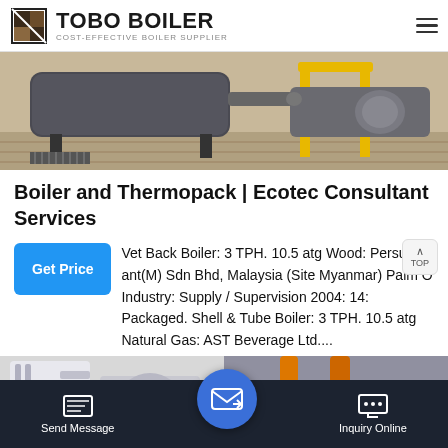TOBO BOILER — COST-EFFECTIVE BOILER SUPPLIER
[Figure (photo): Industrial boiler equipment in a factory floor setting, with yellow support structures and dark metal components]
Boiler and Thermopack | Ecotec Consultant Services
Wet Back Boiler: 3 TPH. 10.5 atg Wood: Persus ant(M) Sdn Bhd, Malaysia (Site Myanmar) Palm O Industry: Supply / Supervision 2004: 14: Packaged. Shell & Tube Boiler: 3 TPH. 10.5 atg Natural Gas: AST Beverage Ltd....
[Figure (photo): Two industrial boiler/machinery photos side by side with a WhatsApp bar overlay at bottom]
Send Message | Inquiry Online